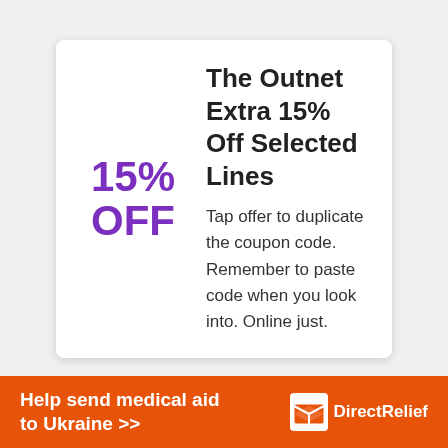The Outnet Extra 15% Off Selected Lines
Tap offer to duplicate the coupon code. Remember to paste code when you look into. Online just.
[Figure (infographic): Orange banner advertisement for Direct Relief with text 'Help send medical aid to Ukraine >>' and Direct Relief logo with box icon on the right]